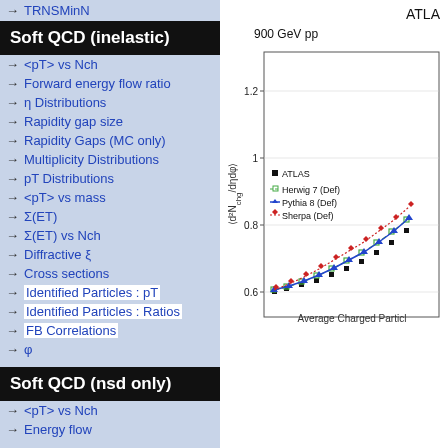→ TRNSMinN
Soft QCD (inelastic)
→ <pT> vs Nch
→ Forward energy flow ratio
→ η Distributions
→ Rapidity gap size
→ Rapidity Gaps (MC only)
→ Multiplicity Distributions
→ pT Distributions
→ <pT> vs mass
→ Σ(ET)
→ Σ(ET) vs Nch
→ Diffractive ξ
→ Cross sections
→ Identified Particles : pT
→ Identified Particles : Ratios
→ FB Correlations
→ φ
Soft QCD (nsd only)
→ <pT> vs Nch
→ Energy flow
[Figure (continuous-plot): ATLAS plot showing Average Charged Particle yield vs eta at 900 GeV pp collisions. Y-axis shows d^2 N_chg/dηdφ from about 0.6 to 1.2. Data series: ATLAS (black filled squares), Herwig 7 Def (green dashed squares), Pythia 8 Def (blue solid triangles), Sherpa Def (red dotted diamonds). All series show increasing trend.]